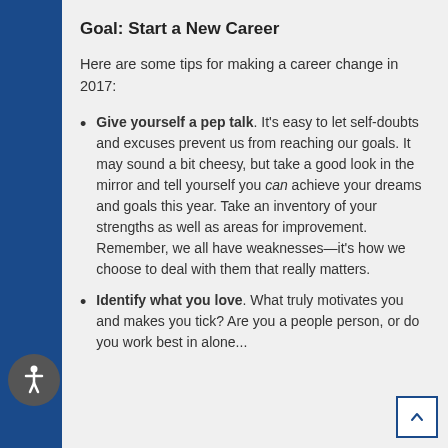Goal: Start a New Career
Here are some tips for making a career change in 2017:
Give yourself a pep talk. It’s easy to let self-doubts and excuses prevent us from reaching our goals. It may sound a bit cheesy, but take a good look in the mirror and tell yourself you can achieve your dreams and goals this year. Take an inventory of your strengths as well as areas for improvement. Remember, we all have weaknesses—it’s how we choose to deal with them that really matters.
Identify what you love. What truly motivates you and makes you tick? Are you a people person, or do you work best in alone...